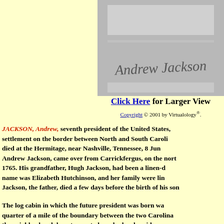[Figure (photo): Signature of Andrew Jackson in cursive script on a gray/white background]
Click Here for Larger View
Copyright © 2001 by Virtualology®.
JACKSON, Andrew, seventh president of the United States, settlement on the border between North and South Caroli died at the Hermitage, near Nashville, Tennessee, 8 Jun Andrew Jackson, came over from Carrickfergus, on the nort 1765. His grandfather, Hugh Jackson, had been a linen-d name was Elizabeth Hutchinson, and her family were lin Jackson, the father, died a few days before the birth of his son
The log cabin in which the future president was born wa quarter of a mile of the boundary between the two Carolina the neighborhood do not seem to have had a clear idea as belonged. In a letter of 24 December, 1830, in the proclamat nullifiers, in 1832, and again in his will, General Jackson sp